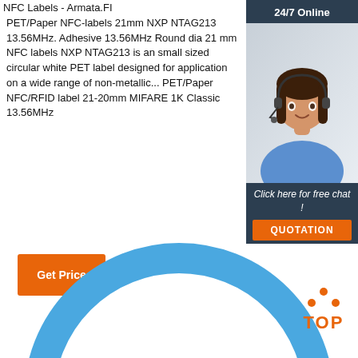NFC Labels - Armata.FI
PET/Paper NFC-labels 21mm NXP NTAG213 13.56MHz. Adhesive 13.56MHz Round dia 21 mm NFC labels NXP NTAG213 is an small sized circular white PET label designed for application on a wide range of non-metallic... PET/Paper NFC/RFID label 21-20mm MIFARE 1K Classic 13.56MHz
[Figure (screenshot): Orange 'Get Price' button]
[Figure (illustration): 24/7 Online chat widget with female customer service agent wearing headset, 'Click here for free chat!' text, and orange QUOTATION button]
[Figure (photo): Blue circular NFC label ring visible at bottom of page]
[Figure (logo): Orange TOP navigation icon with dots arranged in triangle above the word TOP]